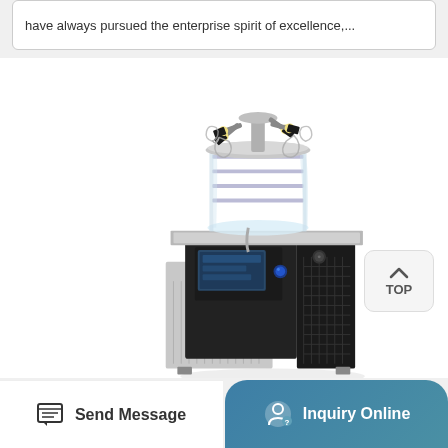have always pursued the enterprise spirit of excellence,...
[Figure (photo): Laboratory freeze dryer / lyophilizer machine with transparent cylindrical drying chamber on top, multiple valve ports, and a black/silver compressor unit base with touchscreen display panel.]
TOP
Send Message
Inquiry Online